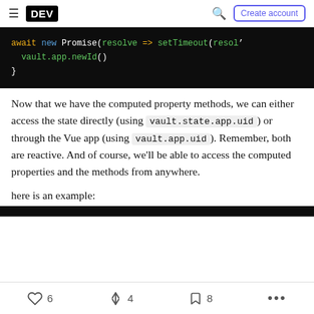DEV — Create account
[Figure (screenshot): Code block showing: await new Promise(resolve => setTimeout(resol  vault.app.newId() }]
Now that we have the computed property methods, we can either access the state directly (using vault.state.app.uid) or through the Vue app (using vault.app.uid). Remember, both are reactive. And of course, we'll be able to access the computed properties and the methods from anywhere.
here is an example:
6  4  8  ...